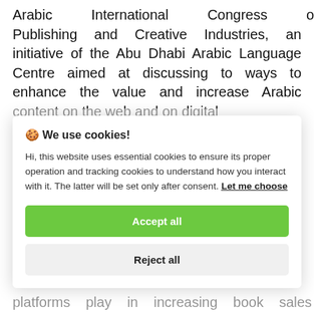Arabic International Congress of Publishing and Creative Industries, an initiative of the Abu Dhabi Arabic Language Centre aimed at discussing to ways to enhance the value and increase Arabic content on the web and on digital
🍪 We use cookies!
Hi, this website uses essential cookies to ensure its proper operation and tracking cookies to understand how you interact with it. The latter will be set only after consent. Let me choose
Accept all
Reject all
platforms play in increasing book sales